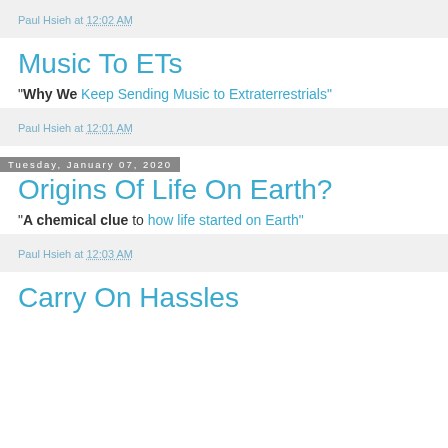Paul Hsieh at 12:02 AM
Music To ETs
"Why We Keep Sending Music to Extraterrestrials"
Paul Hsieh at 12:01 AM
Tuesday, January 07, 2020
Origins Of Life On Earth?
"A chemical clue to how life started on Earth"
Paul Hsieh at 12:03 AM
Carry On Hassles